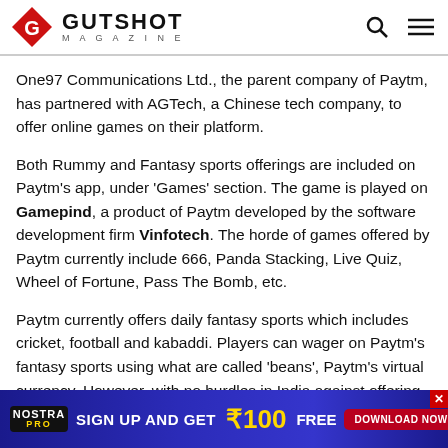GUTSHOT MAGAZINE
One97 Communications Ltd., the parent company of Paytm, has partnered with AGTech, a Chinese tech company, to offer online games on their platform.
Both Rummy and Fantasy sports offerings are included on Paytm's app, under 'Games' section. The game is played on Gamepind, a product of Paytm developed by the software development firm Vinfotech. The horde of games offered by Paytm currently include 666, Panda Stacking, Live Quiz, Wheel of Fortune, Pass The Bomb, etc.
Paytm currently offers daily fantasy sports which includes cricket, football and kabaddi. Players can wager on Paytm's fantasy sports using what are called 'beans', Paytm's virtual currency. However, with no hurdles in India against offering real money fantasy sports, Paytm is expected to incoropate it in the near future.
[Figure (infographic): NOSTRA PRO advertisement banner: SIGN UP AND GET ₹100 FREE with DOWNLOAD NOW button]